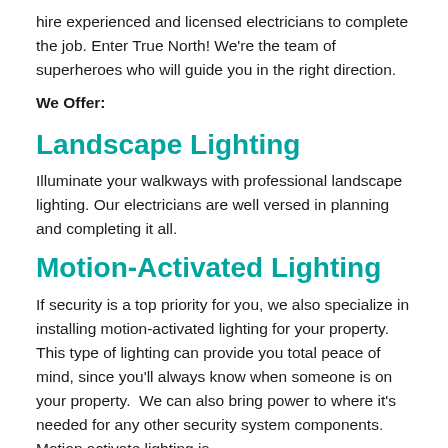hire experienced and licensed electricians to complete the job. Enter True North! We're the team of superheroes who will guide you in the right direction.
We Offer:
Landscape Lighting
Illuminate your walkways with professional landscape lighting. Our electricians are well versed in planning and completing it all.
Motion-Activated Lighting
If security is a top priority for you, we also specialize in installing motion-activated lighting for your property. This type of lighting can provide you total peace of mind, since you'll always know when someone is on your property.  We can also bring power to where it's needed for any other security system components. Motion activate lighting is